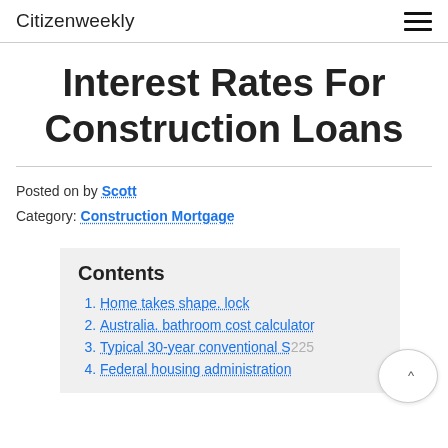Citizenweekly
Interest Rates For Construction Loans
Posted on by Scott
Category: Construction Mortgage
Contents
Home takes shape. lock
Australia. bathroom cost calculator
Typical 30-year conventional S225
Federal housing administration